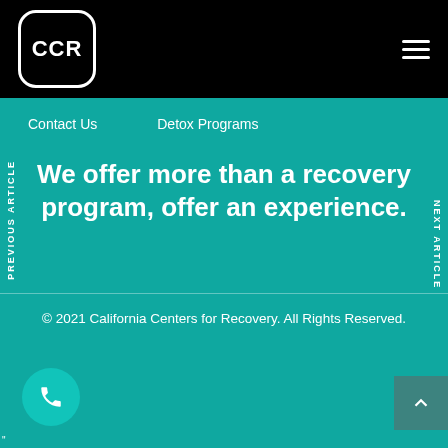[Figure (logo): CCR logo — white rounded square with letters CCR on black header background]
Contact Us    Detox Programs
We offer more than a recovery program, offer an experience.
© 2021 California Centers for Recovery. All Rights Reserved.